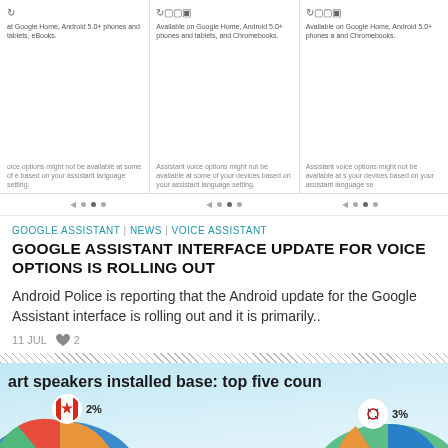[Figure (screenshot): Three carousel cards showing Google Assistant app screens with device icons and disclaimer text about Google Home, Android phones, tablets, Chromebooks, and assistant voice options.]
• • •   • • •   • • •
GOOGLE ASSISTANT | NEWS | VOICE ASSISTANT
GOOGLE ASSISTANT INTERFACE UPDATE FOR VOICE OPTIONS IS ROLLING OUT
Android Police is reporting that the Android update for the Google Assistant interface is rolling out and it is primarily..
11 JUL  ♥ 2
[Figure (infographic): Infographic showing smart speakers installed base: top five countries. Partial pie charts visible with Canada flag icon showing 2% and South Korea flag icon showing 3%.]